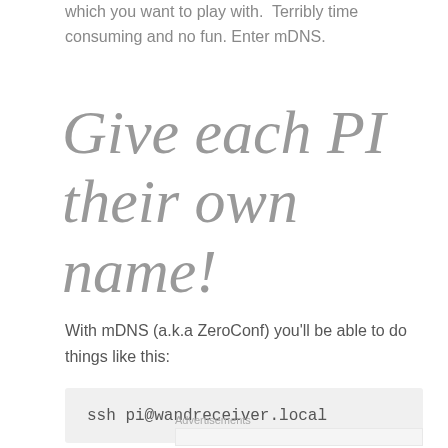which you want to play with.  Terribly time consuming and no fun. Enter mDNS.
Give each PI their own name!
With mDNS (a.k.a ZeroConf) you'll be able to do things like this:
ssh pi@wandreceiver.local
Advertisements